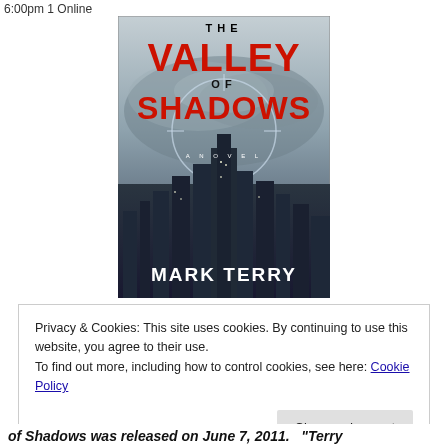6:00pm 1 Online
[Figure (illustration): Book cover for 'The Valley of Shadows' by Mark Terry, showing a city skyline with dark clouds and a crosshair/targeting reticle overlay. The title text 'THE VALLEY OF SHADOWS' appears in large red bold lettering, with 'A NOVEL' in small white text and 'MARK TERRY' in large white bold text at the bottom.]
Privacy & Cookies: This site uses cookies. By continuing to use this website, you agree to their use.
To find out more, including how to control cookies, see here: Cookie Policy
of Shadows was released on June 7, 2011.  "Terry